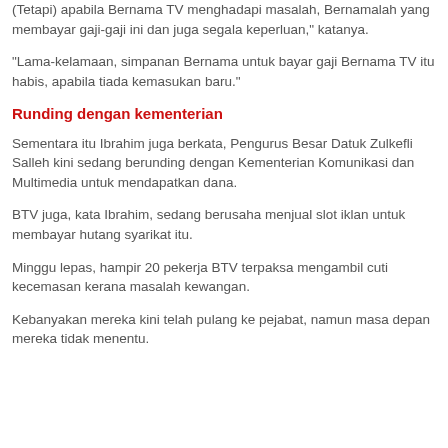(Tetapi) apabila Bernama TV menghadapi masalah, Bernamalah yang membayar gaji-gaji ini dan juga segala keperluan," katanya.
"Lama-kelamaan, simpanan Bernama untuk bayar gaji Bernama TV itu habis, apabila tiada kemasukan baru."
Runding dengan kementerian
Sementara itu Ibrahim juga berkata, Pengurus Besar Datuk Zulkefli Salleh kini sedang berunding dengan Kementerian Komunikasi dan Multimedia untuk mendapatkan dana.
BTV juga, kata Ibrahim, sedang berusaha menjual slot iklan untuk membayar hutang syarikat itu.
Minggu lepas, hampir 20 pekerja BTV terpaksa mengambil cuti kecemasan kerana masalah kewangan.
Kebanyakan mereka kini telah pulang ke pejabat, namun masa depan mereka tidak menentu.